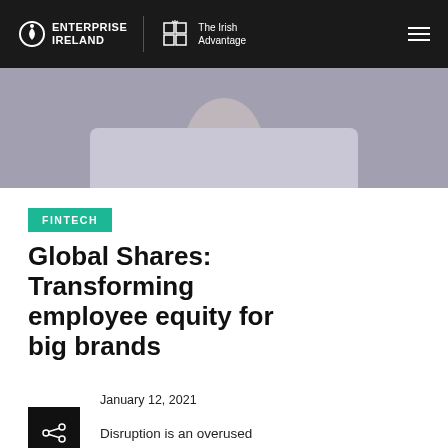ENTERPRISE IRELAND — The Irish Advantage
[Figure (photo): Partial view of a person wearing a white shirt, cropped to show neck and shoulder area against a blue-grey background]
FINTECH
Global Shares: Transforming employee equity for big brands
January 12, 2021
Disruption is an overused